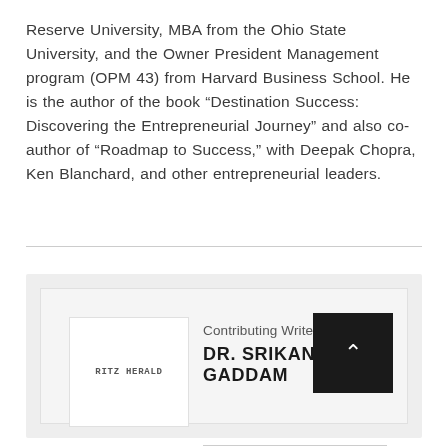Reserve University, MBA from the Ohio State University, and the Owner President Management program (OPM 43) from Harvard Business School. He is the author of the book “Destination Success: Discovering the Entrepreneurial Journey” and also co-author of “Roadmap to Success,” with Deepak Chopra, Ken Blanchard, and other entrepreneurial leaders.
[Figure (infographic): Contributing writer card for Dr. Srikanth Gaddam with a Ritz Herald logo placeholder on the left and name/title on the right, with a dark scroll-to-top button.]